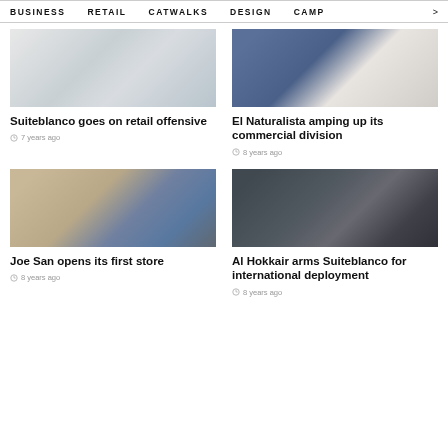BUSINESS   RETAIL   CATWALKS   DESIGN   CAMP >
[Figure (photo): Fashion model in white outfit]
Suiteblanco goes on retail offensive
7 years ago
[Figure (photo): Man in blue suit jacket, smiling]
El Naturalista amping up its commercial division
8 years ago
[Figure (photo): Man with long hair and beard in grey suit]
Joe San opens its first store
8 years ago
[Figure (photo): Woman in black backless dress]
Al Hokkair arms Suiteblanco for international deployment
8 years ago